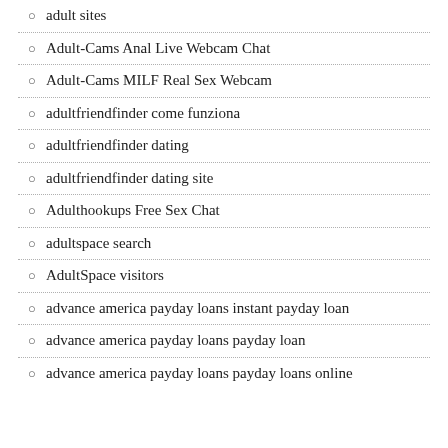adult sites
Adult-Cams Anal Live Webcam Chat
Adult-Cams MILF Real Sex Webcam
adultfriendfinder come funziona
adultfriendfinder dating
adultfriendfinder dating site
Adulthookups Free Sex Chat
adultspace search
AdultSpace visitors
advance america payday loans instant payday loan
advance america payday loans payday loan
advance america payday loans payday loans online